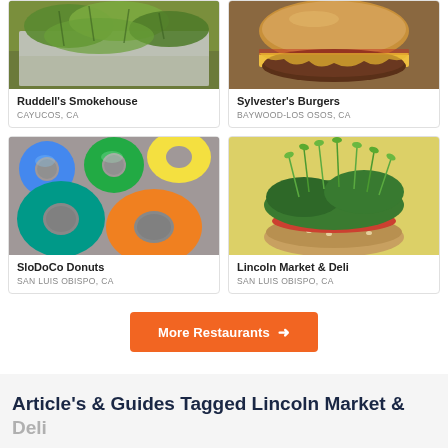[Figure (photo): Food photo for Ruddell's Smokehouse - tacos with lettuce on foil]
Ruddell's Smokehouse
CAYUCOS, CA
[Figure (photo): Food photo for Sylvester's Burgers - cheeseburger]
Sylvester's Burgers
BAYWOOD-LOS OSOS, CA
[Figure (photo): Food photo for SloDoCo Donuts - colorful donuts]
SloDoCo Donuts
SAN LUIS OBISPO, CA
[Figure (photo): Food photo for Lincoln Market & Deli - sandwich with greens]
Lincoln Market & Deli
SAN LUIS OBISPO, CA
More Restaurants →
Article's & Guides Tagged Lincoln Market & Deli